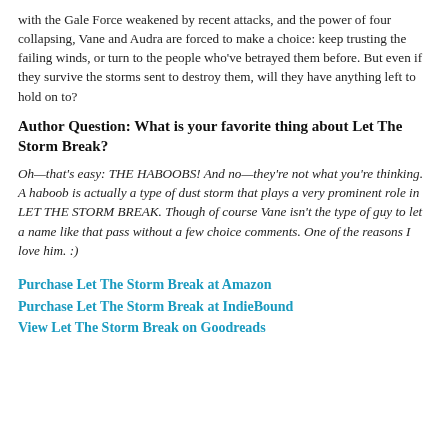with the Gale Force weakened by recent attacks, and the power of four collapsing, Vane and Audra are forced to make a choice: keep trusting the failing winds, or turn to the people who've betrayed them before. But even if they survive the storms sent to destroy them, will they have anything left to hold on to?
Author Question: What is your favorite thing about Let The Storm Break?
Oh—that's easy: THE HABOOBS! And no—they're not what you're thinking. A haboob is actually a type of dust storm that plays a very prominent role in LET THE STORM BREAK. Though of course Vane isn't the type of guy to let a name like that pass without a few choice comments. One of the reasons I love him. :)
Purchase Let The Storm Break at Amazon
Purchase Let The Storm Break at IndieBound
View Let The Storm Break on Goodreads